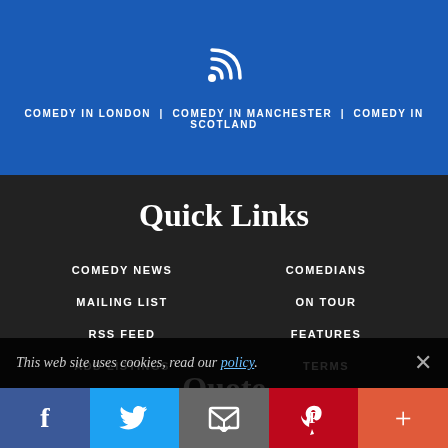[Figure (logo): RSS feed icon (wifi symbol) in white on blue background]
COMEDY IN LONDON | COMEDY IN MANCHESTER | COMEDY IN SCOTLAND
Quick Links
COMEDY NEWS
MAILING LIST
RSS FEED
ADD LISTINGS
COOKIES
COMEDIANS
ON TOUR
FEATURES
TERMS
ABOUT US
CONTACT US
Quote
This web site uses cookies, read our policy.
[Figure (infographic): Social media share buttons: Facebook (blue), Twitter (light blue), Email (grey), Pinterest (red), More (orange-red)]